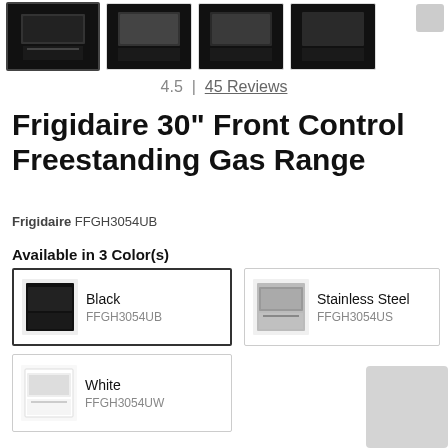[Figure (photo): Four thumbnail images of Frigidaire gas range, first one selected with border, showing oven open and closed angles]
4.5 | 45 Reviews
Frigidaire 30" Front Control Freestanding Gas Range
Frigidaire FFGH3054UB
Available in 3 Color(s)
[Figure (photo): Color option card: Black range thumbnail, label Black, SKU FFGH3054UB, selected]
[Figure (photo): Color option card: Stainless Steel range thumbnail, label Stainless Steel, SKU FFGH3054US]
[Figure (photo): Color option card: White range thumbnail, label White, SKU FFGH3054UW]
Features
Built-in Look
Flexible Five Burner Cooktop